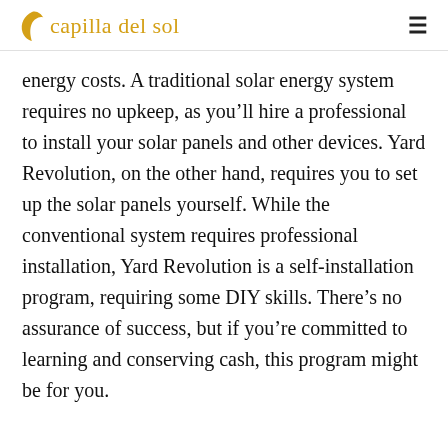capilla del sol
energy costs. A traditional solar energy system requires no upkeep, as you’ll hire a professional to install your solar panels and other devices. Yard Revolution, on the other hand, requires you to set up the solar panels yourself. While the conventional system requires professional installation, Yard Revolution is a self-installation program, requiring some DIY skills. There’s no assurance of success, but if you’re committed to learning and conserving cash, this program might be for you.